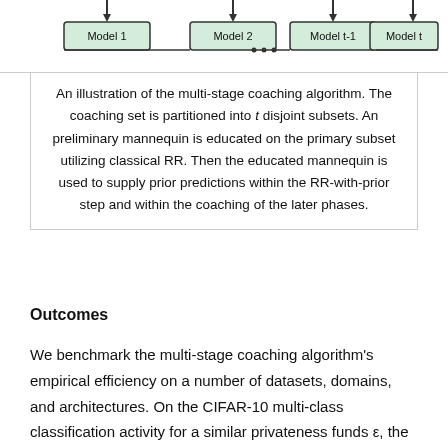[Figure (flowchart): Partial view of a multi-stage coaching algorithm diagram showing Model 1, Model 2, Model t-1, and Model t boxes with arrows and connecting lines at the top of the page.]
An illustration of the multi-stage coaching algorithm. The coaching set is partitioned into t disjoint subsets. An preliminary mannequin is educated on the primary subset utilizing classical RR. Then the educated mannequin is used to supply prior predictions within the RR-with-prior step and within the coaching of the later phases.
Outcomes
We benchmark the multi-stage coaching algorithm's empirical efficiency on a number of datasets, domains, and architectures. On the CIFAR-10 multi-class classification activity for a similar privateness funds ε, the multi-stage coaching algorithm (blue within the determine under) guaranteeing LabelDP achieves 20% greater accuracy than